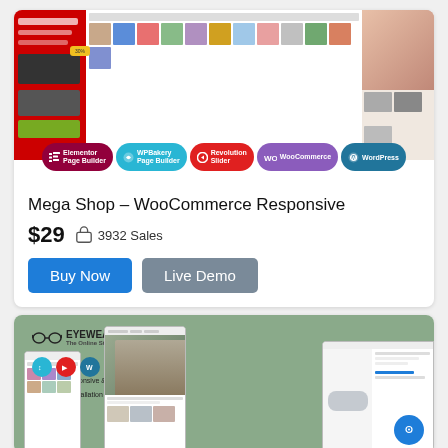[Figure (screenshot): Mega Shop WooCommerce theme screenshots showing product grids, clothing items, and plugin badges for Elementor Page Builder, WPBakery Page Builder, Revolution Slider, WooCommerce, WordPress]
Mega Shop – WooCommerce Responsive
$29  🛍 3932 Sales
Buy Now   Live Demo
[Figure (screenshot): Eyewear online store WooCommerce theme screenshots showing eyewear products, a woman wearing glasses, and product detail pages on sage green background]